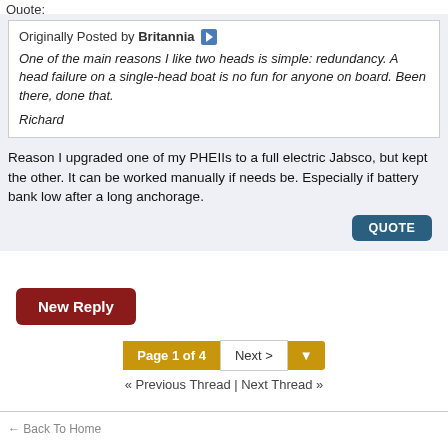Quote:
Originally Posted by Britannia
One of the main reasons I like two heads is simple: redundancy. A head failure on a single-head boat is no fun for anyone on board. Been there, done that.

Richard
Reason I upgraded one of my PHEIIs to a full electric Jabsco, but kept the other. It can be worked manually if needs be. Especially if battery bank low after a long anchorage.
QUOTE
New Reply
Page 1 of 4  Next >
« Previous Thread | Next Thread »
← Back To Home